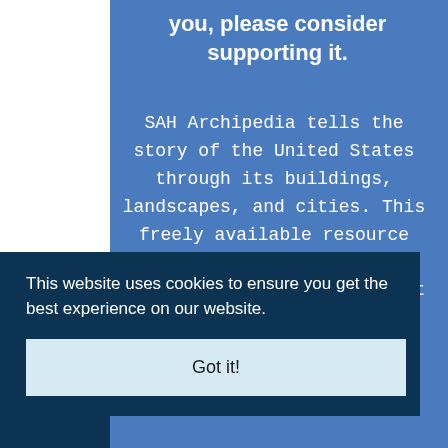you, please consider supporting it.
SAH Archipedia tells the story of the United States through its buildings, landscapes, and cities. This freely available resource empowers the public with authoritative knowledge that deepens their understanding and
This website uses cookies to ensure you get the best experience on our website.
Got it!